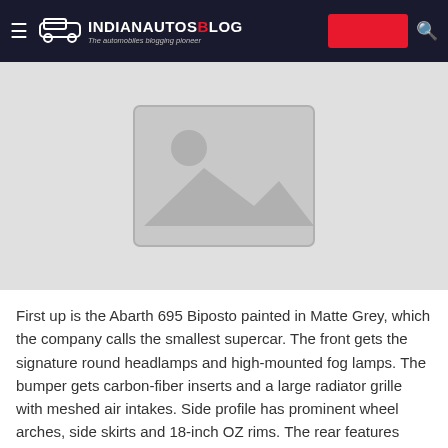IndianAutosBlog - The automobiles blogging pioneer
[Figure (photo): Placeholder image with mountain/landscape icon on grey background]
First up is the Abarth 695 Biposto painted in Matte Grey, which the company calls the smallest supercar. The front gets the signature round headlamps and high-mounted fog lamps. The bumper gets carbon-fiber inserts and a large radiator grille with meshed air intakes. Side profile has prominent wheel arches, side skirts and 18-inch OZ rims. The rear features carbon-fiber extractors, roof spoiler, rear diffuser and Akrapovic exhaust system.